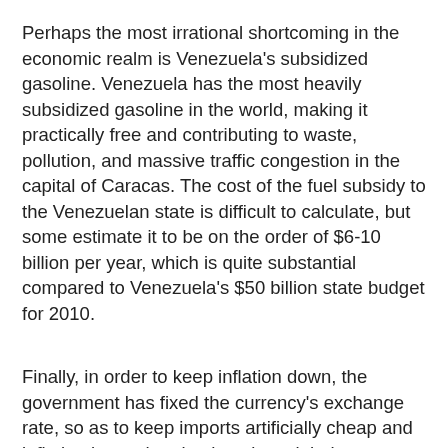Perhaps the most irrational shortcoming in the economic realm is Venezuela's subsidized gasoline. Venezuela has the most heavily subsidized gasoline in the world, making it practically free and contributing to waste, pollution, and massive traffic congestion in the capital of Caracas. The cost of the fuel subsidy to the Venezuelan state is difficult to calculate, but some estimate it to be on the order of $6-10 billion per year, which is quite substantial compared to Venezuela's $50 billion state budget for 2010.
Finally, in order to keep inflation down, the government has fixed the currency's exchange rate, so as to keep imports artificially cheap and inflation lower than it otherwise might be. However, since the exchange rate does not keep up with inflation (which